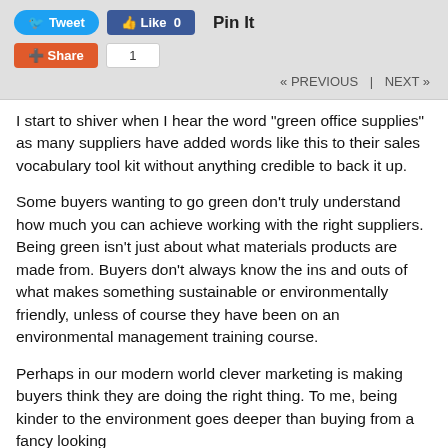[Figure (screenshot): Social media sharing buttons bar with Tweet, Like 0, Pin It, Share buttons and count box showing 1, with navigation links PREVIOUS and NEXT]
I start to shiver when I hear the word “green office supplies” as many suppliers have added words like this to their sales vocabulary tool kit without anything credible to back it up.
Some buyers wanting to go green don’t truly understand how much you can achieve working with the right suppliers. Being green isn’t just about what materials products are made from. Buyers don’t always know the ins and outs of what makes something sustainable or environmentally friendly, unless of course they have been on an environmental management training course.
Perhaps in our modern world clever marketing is making buyers think they are doing the right thing. To me, being kinder to the environment goes deeper than buying from a fancy looking